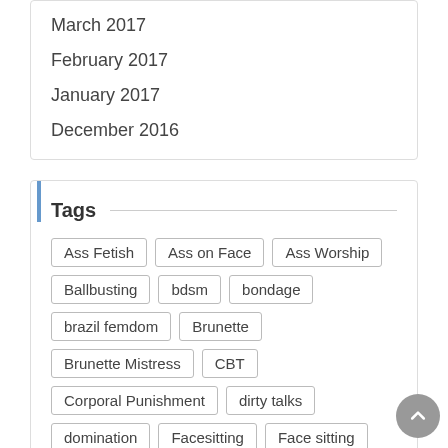March 2017
February 2017
January 2017
December 2016
Tags
Ass Fetish | Ass on Face | Ass Worship | Ballbusting | bdsm | bondage | brazil femdom | Brunette | Brunette Mistress | CBT | Corporal Punishment | dirty talks | domination | Facesitting | Face sitting